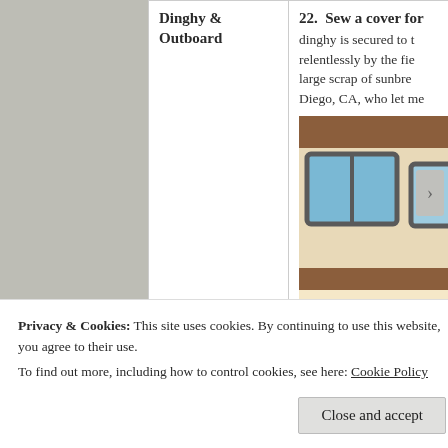| Category | Item |
| --- | --- |
| Dinghy & Outboard | 22.  Sew a cover for [dinghy is secured to t relentlessly by the fie large scrap of sunbre Diego, CA, who let me |
[Figure (photo): Interior of a boat cabin showing portholes/windows with brown trim, cream-colored walls, and what appears to be stored items at the bottom right]
Privacy & Cookies: This site uses cookies. By continuing to use this website, you agree to their use.
To find out more, including how to control cookies, see here: Cookie Policy
Close and accept